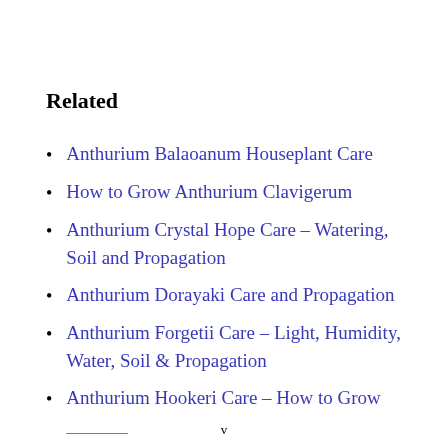Related
Anthurium Balaoanum Houseplant Care
How to Grow Anthurium Clavigerum
Anthurium Crystal Hope Care – Watering, Soil and Propagation
Anthurium Dorayaki Care and Propagation
Anthurium Forgetii Care – Light, Humidity, Water, Soil & Propagation
Anthurium Hookeri Care – How to Grow [partially visible]
v